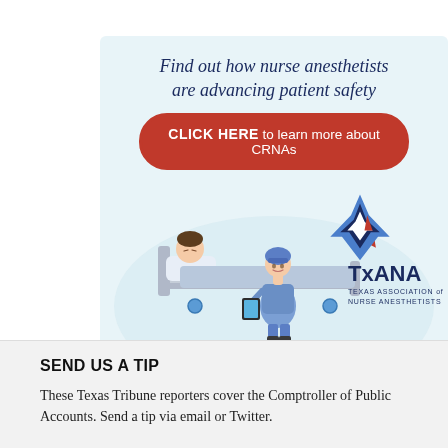[Figure (illustration): TxANA advertisement: nurse anesthetist with patient in hospital bed, with TxANA star logo. Text: 'Find out how nurse anesthetists are advancing patient safety' and button 'CLICK HERE to learn more about CRNAs']
SEND US A TIP
These Texas Tribune reporters cover the Comptroller of Public Accounts. Send a tip via email or Twitter.